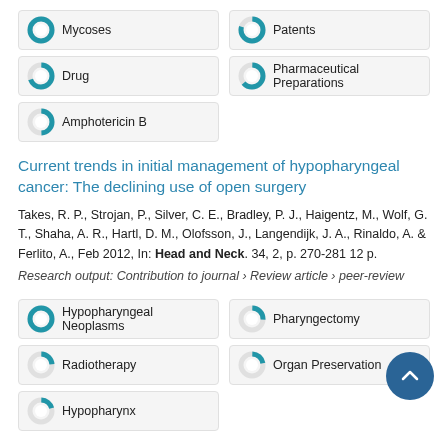Mycoses
Patents
Drug
Pharmaceutical Preparations
Amphotericin B
Current trends in initial management of hypopharyngeal cancer: The declining use of open surgery
Takes, R. P., Strojan, P., Silver, C. E., Bradley, P. J., Haigentz, M., Wolf, G. T., Shaha, A. R., Hartl, D. M., Olofsson, J., Langendijk, J. A., Rinaldo, A. & Ferlito, A., Feb 2012, In: Head and Neck. 34, 2, p. 270-281 12 p.
Research output: Contribution to journal › Review article › peer-review
Hypopharyngeal Neoplasms
Pharyngectomy
Radiotherapy
Organ Preservation
Hypopharynx